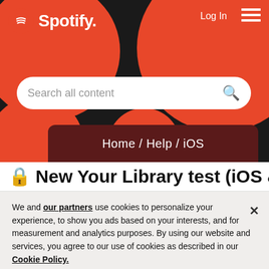[Figure (screenshot): Spotify website header with black background, red decorative circles, Spotify logo (top left), Log In link and hamburger menu (top right), and a search bar reading 'Search all content']
Home / Help / iOS
🔒 New Your Library test (iOS &
We and our partners use cookies to personalize your experience, to show you ads based on your interests, and for measurement and analytics purposes. By using our website and services, you agree to our use of cookies as described in our Cookie Policy.